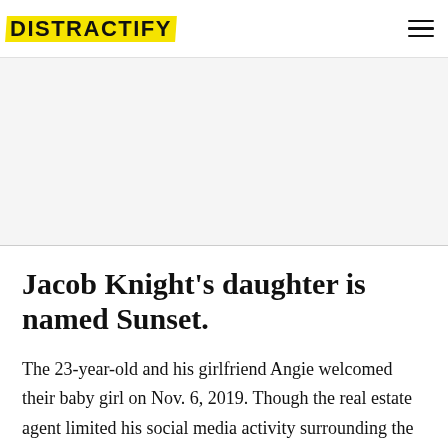DISTRACTIFY
[Figure (other): Gray advertisement placeholder area]
Jacob Knight's daughter is named Sunset.
The 23-year-old and his girlfriend Angie welcomed their baby girl on Nov. 6, 2019. Though the real estate agent limited his social media activity surrounding the pregnancy